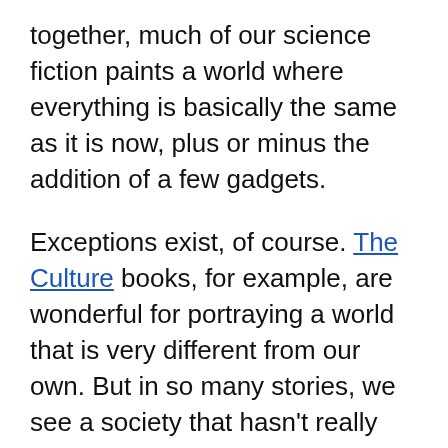together, much of our science fiction paints a world where everything is basically the same as it is now, plus or minus the addition of a few gadgets.
Exceptions exist, of course. The Culture books, for example, are wonderful for portraying a world that is very different from our own. But in so many stories, we see a society that hasn't really changed. This not only presents a problem for representation but also limits our imagination. A lot of words have been spent talking about how important technologies were inspired by something a future engineer saw in their favorite scifi story. We need that same inspiration for social issues as well as technological ones. If we can't imagine something, it's hard to do.